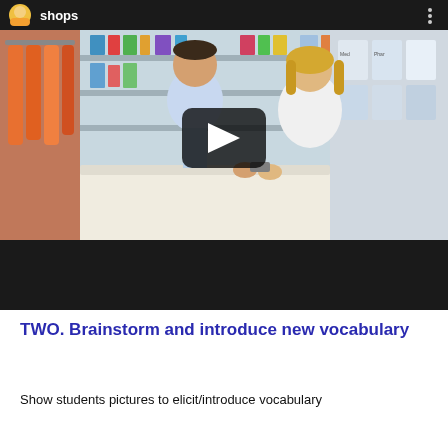[Figure (screenshot): A video thumbnail showing a pharmacy scene with a male customer and female pharmacist at a counter, with shelves of products in background. The video player has a dark top bar with a cartoon avatar icon and title 'shops', plus a play button overlay in the center.]
TWO. Brainstorm and introduce new vocabulary
Show students pictures to elicit/introduce vocabulary